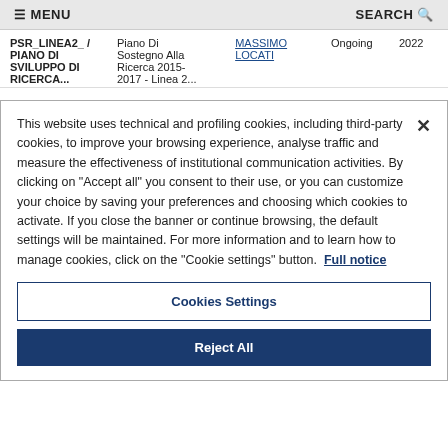≡ MENU    SEARCH 🔍
| PSR_LINEA2_ / PIANO DI SVILUPPO DI RICERCA... | Piano Di Sostegno Alla Ricerca 2015-2017 - Linea 2... | MASSIMO LOCATI | Ongoing | 2022 |
This website uses technical and profiling cookies, including third-party cookies, to improve your browsing experience, analyse traffic and measure the effectiveness of institutional communication activities. By clicking on "Accept all" you consent to their use, or you can customize your choice by saving your preferences and choosing which cookies to activate. If you close the banner or continue browsing, the default settings will be maintained. For more information and to learn how to manage cookies, click on the "Cookie settings" button. Full notice
Cookies Settings
Reject All